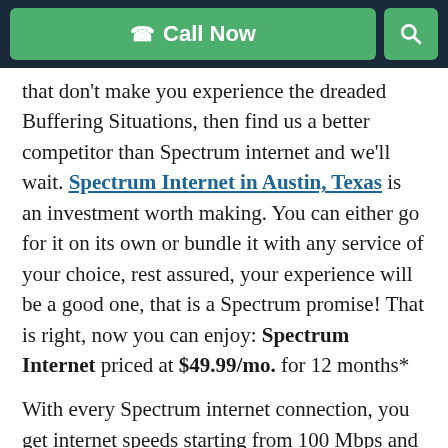Call Now
that don't make you experience the dreaded Buffering Situations, then find us a better competitor than Spectrum internet and we'll wait. Spectrum Internet in Austin, Texas is an investment worth making. You can either go for it on its own or bundle it with any service of your choice, rest assured, your experience will be a good one, that is a Spectrum promise! That is right, now you can enjoy: Spectrum Internet priced at $49.99/mo. for 12 months*
With every Spectrum internet connection, you get internet speeds starting from 100 Mbps and a